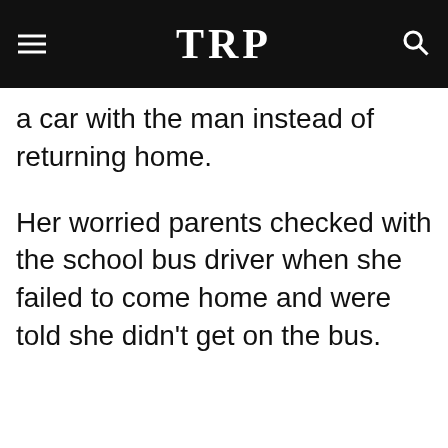TRP
a car with the man instead of returning home.
Her worried parents checked with the school bus driver when she failed to come home and were told she didn't get on the bus.